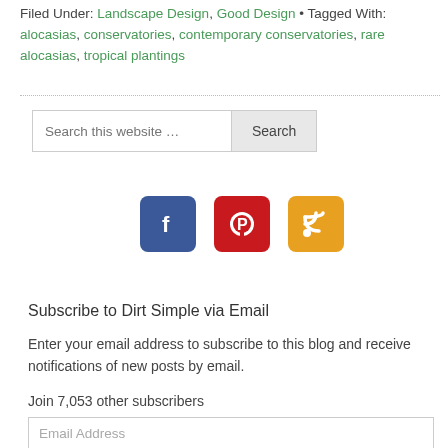Filed Under: Landscape Design, Good Design • Tagged With: alocasias, conservatories, contemporary conservatories, rare alocasias, tropical plantings
[Figure (screenshot): Search bar with 'Search this website …' placeholder text and a 'Search' button]
[Figure (infographic): Three social media icon buttons: Facebook (blue), Pinterest (red), RSS feed (orange)]
Subscribe to Dirt Simple via Email
Enter your email address to subscribe to this blog and receive notifications of new posts by email.
Join 7,053 other subscribers
[Figure (screenshot): Email Address input field]